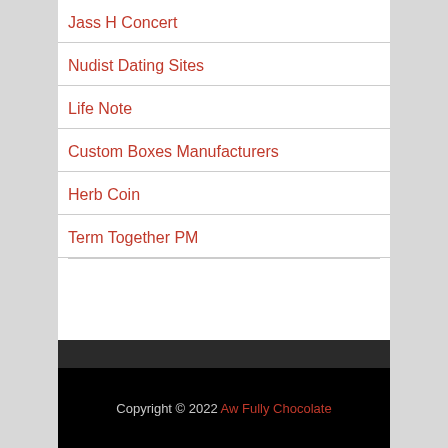Jass H Concert
Nudist Dating Sites
Life Note
Custom Boxes Manufacturers
Herb Coin
Term Together PM
Copyright © 2022 Aw Fully Chocolate